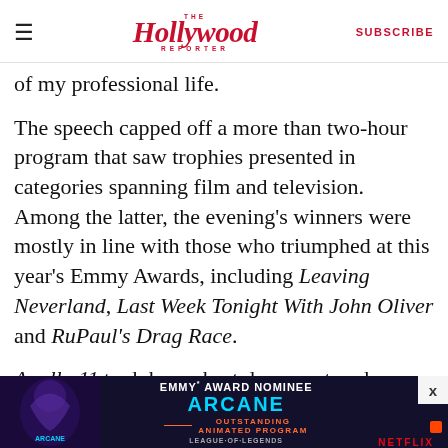The Hollywood Reporter — SUBSCRIBE
of my professional life.
The speech capped off a more than two-hour program that saw trophies presented in categories spanning film and television. Among the latter, the evening's winners were mostly in line with those who triumphed at this year's Emmy Awards, including Leaving Neverland, Last Week Tonight With John Oliver and RuPaul's Drag Race.
Apollo 11 took home best documentary honors, while additional film award recipients included fellow NASA project Apollo: Missions to the Moon for outstanding producer of televised or streamed
[Figure (advertisement): Arcane Emmy Award Nominee advertisement banner — Outstanding Animated Program, League of Legends, Netflix, Riot Games]